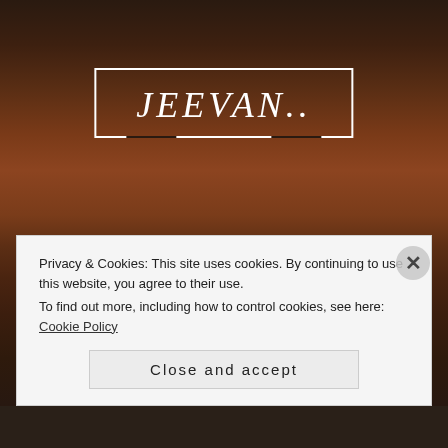[Figure (photo): Dark mountain landscape with reddish-brown rocky peaks, used as website background]
JEEVAN..
Rangon se aankhein abhi bhari nhin Patte abhi puri tarah khile nhin Din me dekha hua sapna
Privacy & Cookies: This site uses cookies. By continuing to use this website, you agree to their use.
To find out more, including how to control cookies, see here: Cookie Policy
Close and accept